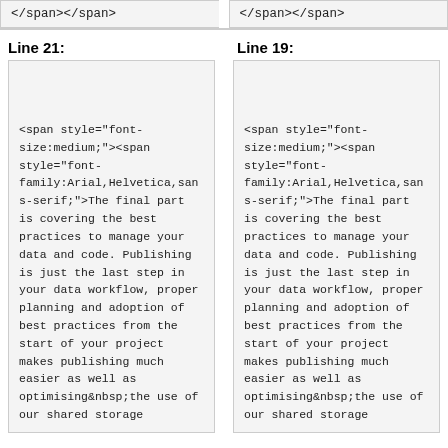</span></span>
</span></span>
Line 21:
Line 19:
<span style="font-size:medium;"><span style="font-family:Arial,Helvetica,sans-serif;">The final part is covering the best practices to manage your data and code. Publishing is just the last step in your data workflow, proper planning and adoption of best practices from the start of your project makes publishing much easier as well as optimising&nbsp;the use of our shared storage
<span style="font-size:medium;"><span style="font-family:Arial,Helvetica,sans-serif;">The final part is covering the best practices to manage your data and code. Publishing is just the last step in your data workflow, proper planning and adoption of best practices from the start of your project makes publishing much easier as well as optimising&nbsp;the use of our shared storage